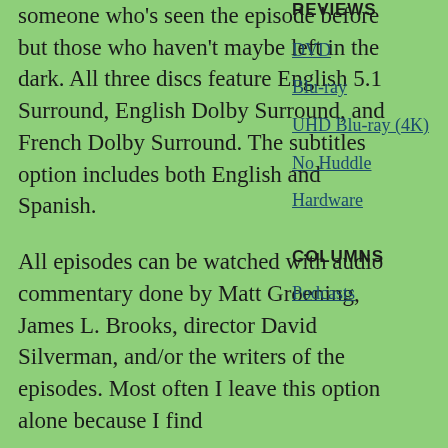someone who's seen the episode before but those who haven't maybe left in the dark. All three discs feature English 5.1 Surround, English Dolby Surround, and French Dolby Surround. The subtitles option includes both English and Spanish.
REVIEWS
DVD
Blu-ray
UHD Blu-ray (4K)
No Huddle
Hardware
All episodes can be watched with audio commentary done by Matt Groening, James L. Brooks, director David Silverman, and/or the writers of the episodes. Most often I leave this option alone because I find
COLUMNS
Podcasts